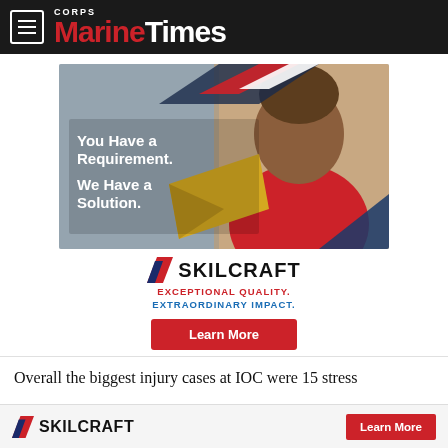Marine Corps Times
[Figure (illustration): SKILCRAFT advertisement with a woman in a red jacket holding a yellow envelope. Text reads: 'You Have a Requirement. We Have a Solution.' SKILCRAFT logo with taglines 'EXCEPTIONAL QUALITY. EXTRAORDINARY IMPACT.' and a 'Learn More' red button.]
Overall the biggest injury cases at IOC were 15 stress
[Figure (logo): SKILCRAFT logo with chevron icon and 'Learn More' red button in bottom bar.]